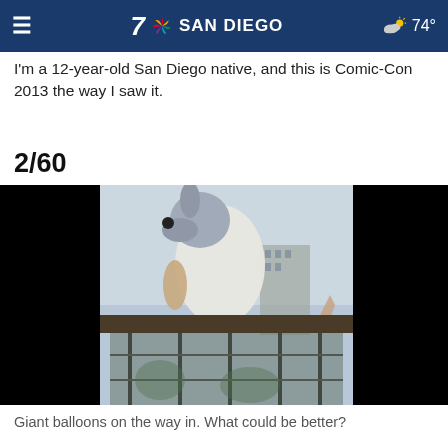7 SAN DIEGO  74°
I'm a 12-year-old San Diego native, and this is Comic-Con 2013 the way I saw it.
2/60
[Figure (photo): Giant inflatable cartoon character balloons on a float or platform structure, viewed from below against a cloudy sky, with city buildings in background. Left and right sides of image are black (letterboxed).]
Giant balloons on the way in. What could be better?